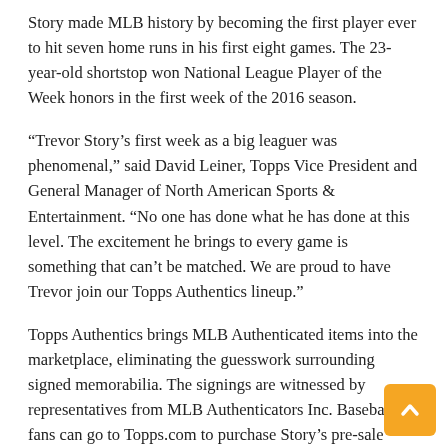Story made MLB history by becoming the first player ever to hit seven home runs in his first eight games. The 23-year-old shortstop won National League Player of the Week honors in the first week of the 2016 season.
“Trevor Story’s first week as a big leaguer was phenomenal,” said David Leiner, Topps Vice President and General Manager of North American Sports & Entertainment. “No one has done what he has done at this level. The excitement he brings to every game is something that can’t be matched. We are proud to have Trevor join our Topps Authentics lineup.”
Topps Authentics brings MLB Authenticated items into the marketplace, eliminating the guesswork surrounding signed memorabilia. The signings are witnessed by representatives from MLB Authenticators Inc. Baseball fans can go to Topps.com to purchase Story’s pre-sale items of signed memorabilia.
“Topps is a great partner to capture the excitement of Trevor’s historic start to his Major League career,” said Mike Neligan, Vice President at Excel Sports Management, Story’s agency. “He is excited